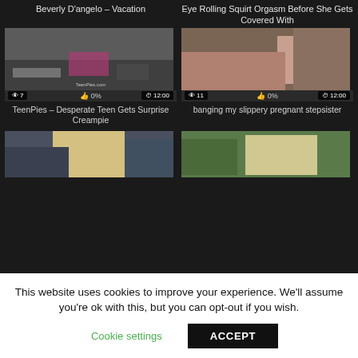Beverly D'angelo – Vacation
Eye Rolling Squirt Orgasm Before She Gets Covered With
[Figure (screenshot): Video thumbnail showing bedroom scene with view count 7 and duration 12:00]
[Figure (screenshot): Video thumbnail showing two people with view count 11 and duration 12:00]
TeenPies – Desperate Teen Gets Surprise Creampie
banging my slippery pregnant stepsister
[Figure (screenshot): Video thumbnail showing blonde woman]
[Figure (screenshot): Video thumbnail showing outdoor scene with blonde woman]
This website uses cookies to improve your experience. We'll assume you're ok with this, but you can opt-out if you wish.
Cookie settings
ACCEPT